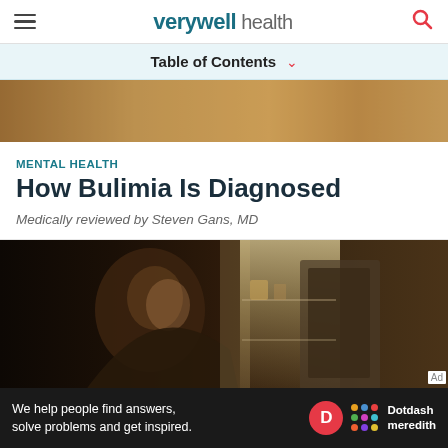verywell health
Table of Contents
[Figure (photo): Partial view of a person with dog, cropped hero image at top of article]
MENTAL HEALTH
How Bulimia Is Diagnosed
Medically reviewed by Steven Gans, MD
[Figure (photo): Dark photo of a person looking into an open refrigerator at night, illuminated by fridge light]
We help people find answers, solve problems and get inspired. Dotdash meredith